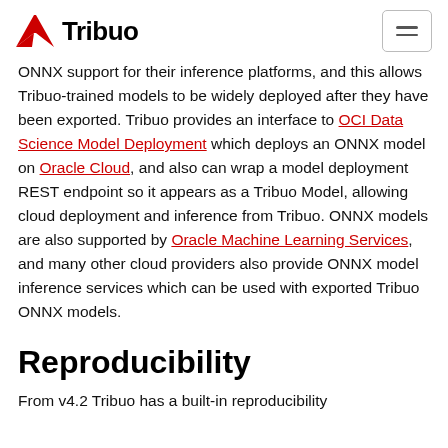Tribuo
ONNX support for their inference platforms, and this allows Tribuo-trained models to be widely deployed after they have been exported. Tribuo provides an interface to OCI Data Science Model Deployment which deploys an ONNX model on Oracle Cloud, and also can wrap a model deployment REST endpoint so it appears as a Tribuo Model, allowing cloud deployment and inference from Tribuo. ONNX models are also supported by Oracle Machine Learning Services, and many other cloud providers also provide ONNX model inference services which can be used with exported Tribuo ONNX models.
Reproducibility
From v4.2 Tribuo has a built-in reproducibility